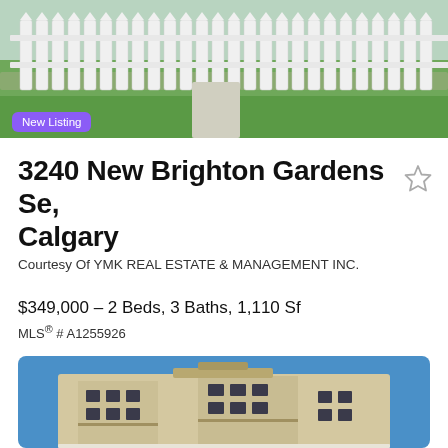[Figure (photo): Outdoor photo of a property with white picket fence and green lawn, cropped at top of page]
New Listing
3240 New Brighton Gardens Se, Calgary
Courtesy Of YMK REAL ESTATE & MANAGEMENT INC.
$349,000 – 2 Beds, 3 Baths, 1,110 Sf
MLS® # A1255926
[Figure (photo): Exterior photo of a multi-story beige condominium building with balconies under bright blue sky]